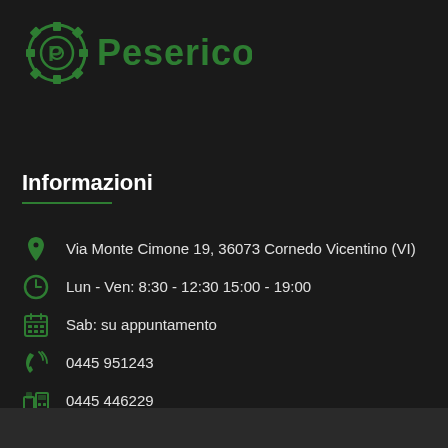[Figure (logo): Peserico company logo with green gear/sprocket icon and green bold text 'Peserico']
Informazioni
Via Monte Cimone 19, 36073 Cornedo Vicentino (VI)
Lun - Ven: 8:30 - 12:30 15:00 - 19:00
Sab: su appuntamento
0445 951243
0445 446229
info@pesericosas.it